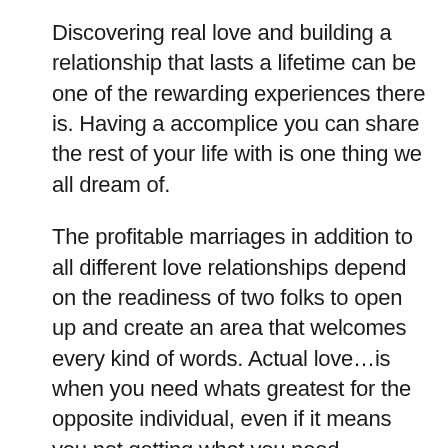Discovering real love and building a relationship that lasts a lifetime can be one of the rewarding experiences there is. Having a accomplice you can share the rest of your life with is one thing we all dream of.
The profitable marriages in addition to all different love relationships depend on the readiness of two folks to open up and create an area that welcomes every kind of words. Actual love…is when you need whats greatest for the opposite individual, even if it means you not getting what you need.